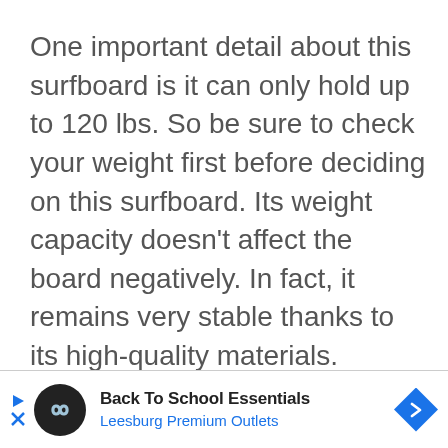One important detail about this surfboard is it can only hold up to 120 lbs. So be sure to check your weight first before deciding on this surfboard. Its weight capacity doesn't affect the board negatively. In fact, it remains very stable thanks to its high-quality materials.
[Figure (other): Advertisement banner for Back To School Essentials at Leesburg Premium Outlets, with a circular black logo featuring an infinity-like symbol, a blue arrow navigation button, and play/close controls.]